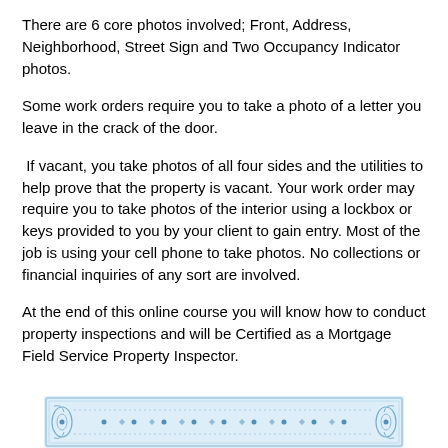There are 6 core photos involved; Front, Address, Neighborhood, Street Sign and Two Occupancy Indicator photos.
Some work orders require you to take a photo of a letter you leave in the crack of the door.
If vacant, you take photos of all four sides and the utilities to help prove that the property is vacant. Your work order may require you to take photos of the interior using a lockbox or keys provided to you by your client to gain entry. Most of the job is using your cell phone to take photos. No collections or financial inquiries of any sort are involved.
At the end of this online course you will know how to conduct property inspections and will be Certified as a Mortgage Field Service Property Inspector.
[Figure (illustration): Decorative certificate border illustration with blue ornamental pattern, dots and scrollwork on a light blue background]